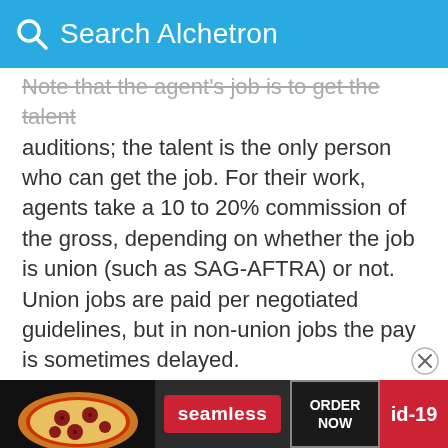Search Alchetron
Note that the agent's job is to get the talent auditions; the talent is the only person who can get the job. For their work, agents take a 10 to 20% commission of the gross, depending on whether the job is union (such as SAG-AFTRA) or not. Union jobs are paid per negotiated guidelines, but in non-union jobs the pay is sometimes delayed.
A well established agent will have networks upon networks of contacts. Also, agents have access to professional casting services. Many of these casting resources are not available to the general public.
Althou
[Figure (screenshot): Advertisement banner for Seamless food ordering service with pizza image, Seamless logo in red, ORDER NOW button, and id-19 label]